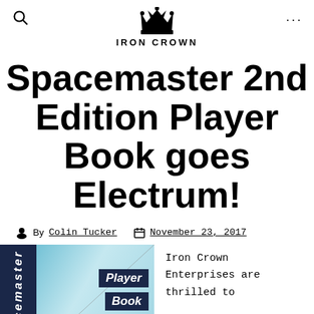IRON CROWN
Spacemaster 2nd Edition Player Book goes Electrum!
By Colin Tucker  November 23, 2017
[Figure (photo): Book cover of Spacemaster 2nd Edition Player Book showing 'Player Book' labels on a teal/blue cover with a dark spine]
Iron Crown Enterprises are thrilled to